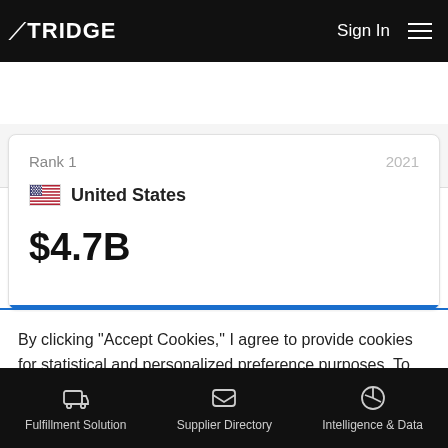TRIDGE | Sign In
Fresh Whole Beef — Norfolk Island
Rank 1  2021
United States
$4.7B
By clicking “Accept Cookies,” I agree to provide cookies for statistical and personalized preference purposes. To learn more about our cookies, please read our Privacy Policy.
Accept Cookies
Fulfillment Solution | Supplier Directory | Intelligence & Data